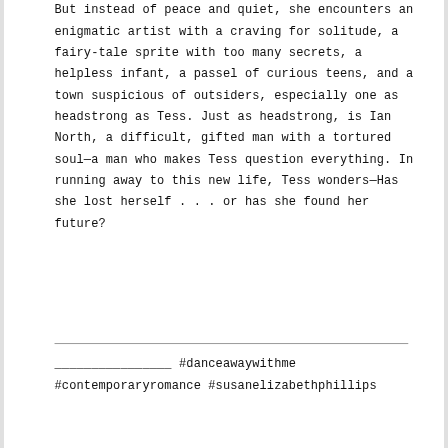But instead of peace and quiet, she encounters an enigmatic artist with a craving for solitude, a fairy-tale sprite with too many secrets, a helpless infant, a passel of curious teens, and a town suspicious of outsiders, especially one as headstrong as Tess. Just as headstrong, is Ian North, a difficult, gifted man with a tortured soul—a man who makes Tess question everything. In running away to this new life, Tess wonders—Has she lost herself . . . or has she found her future?
________________________________ #danceawaywithme #contemporaryromance #susanelizabethphillips